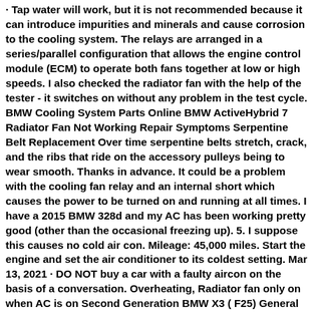· Tap water will work, but it is not recommended because it can introduce impurities and minerals and cause corrosion to the cooling system. The relays are arranged in a series/parallel configuration that allows the engine control module (ECM) to operate both fans together at low or high speeds. I also checked the radiator fan with the help of the tester - it switches on without any problem in the test cycle. BMW Cooling System Parts Online BMW ActiveHybrid 7 Radiator Fan Not Working Repair Symptoms Serpentine Belt Replacement Over time serpentine belts stretch, crack, and the ribs that ride on the accessory pulleys being to wear smooth. Thanks in advance. It could be a problem with the cooling fan relay and an internal short which causes the power to be turned on and running at all times. I have a 2015 BMW 328d and my AC has been working pretty good (other than the occasional freezing up). 5. I suppose this causes no cold air con. Mileage: 45,000 miles. Start the engine and set the air conditioner to its coldest setting. Mar 13, 2021 · DO NOT buy a car with a faulty aircon on the basis of a conversation. Overheating, Radiator fan only on when AC is on Second Generation BMW X3 ( F25) General Forum. Finally, remove the pop rivet at the top of the driver's side of the fan. BMW Cooling Fan Parts Online Dec 24, 2016 · Bleeding the coolant. I've consulted the Bentley manual and it doesn't indicate recoding is necessary if the fan is replaced. Sep 11, 2018 · The Compressor Stopped Working. Most of today's